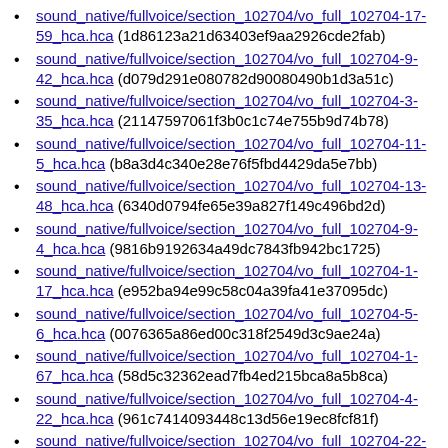sound_native/fullvoice/section_102704/vo_full_102704-17-59_hca.hca (1d86123a21d63403ef9aa2926cde2fab)
sound_native/fullvoice/section_102704/vo_full_102704-9-42_hca.hca (d079d291e080782d90080490b1d3a51c)
sound_native/fullvoice/section_102704/vo_full_102704-3-35_hca.hca (21147597061f3b0c1c74e755b9d74b78)
sound_native/fullvoice/section_102704/vo_full_102704-11-5_hca.hca (b8a3d4c340e28e76f5fbd4429da5e7bb)
sound_native/fullvoice/section_102704/vo_full_102704-13-48_hca.hca (6340d0794fe65e39a827f149c496bd2d)
sound_native/fullvoice/section_102704/vo_full_102704-9-4_hca.hca (9816b9192634a49dc7843fb942bc1725)
sound_native/fullvoice/section_102704/vo_full_102704-1-17_hca.hca (e952ba94e99c58c04a39fa41e37095dc)
sound_native/fullvoice/section_102704/vo_full_102704-5-6_hca.hca (0076365a86ed00c318f2549d3c9ae24a)
sound_native/fullvoice/section_102704/vo_full_102704-1-67_hca.hca (58d5c32362ead7fb4ed215bca8a5b8ca)
sound_native/fullvoice/section_102704/vo_full_102704-4-22_hca.hca (961c7414093448c13d56e19ec8fcf81f)
sound_native/fullvoice/section_102704/vo_full_102704-22-60_hca.hca (85ada3d3f8e7095cc77131ea9f1863db)
sound_native/fullvoice/section_102704/vo_full_102704-17-56_hca.hca (e04c171511a3c082093c7e9242cfda5b)
sound_native/fullvoice/section_102704/vo_full_102704-3-